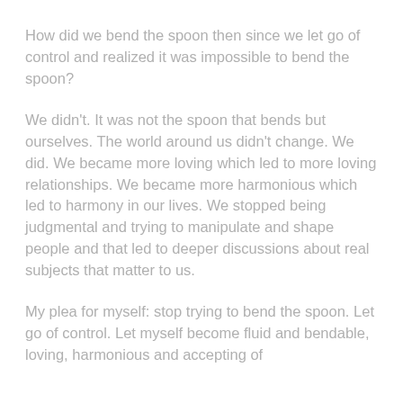How did we bend the spoon then since we let go of control and realized it was impossible to bend the spoon?
We didn't. It was not the spoon that bends but ourselves. The world around us didn't change. We did. We became more loving which led to more loving relationships. We became more harmonious which led to harmony in our lives. We stopped being judgmental and trying to manipulate and shape people and that led to deeper discussions about real subjects that matter to us.
My plea for myself: stop trying to bend the spoon. Let go of control. Let myself become fluid and bendable, loving, harmonious and accepting of